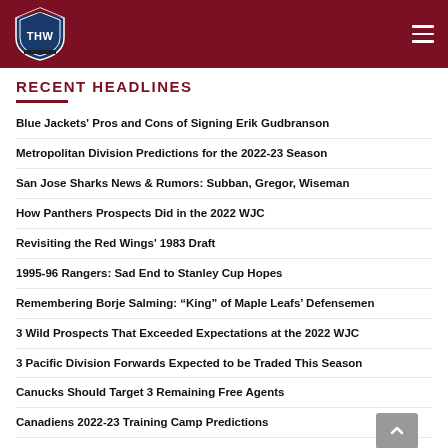THW - The Hockey Writers
RECENT HEADLINES
Blue Jackets' Pros and Cons of Signing Erik Gudbranson
Metropolitan Division Predictions for the 2022-23 Season
San Jose Sharks News & Rumors: Subban, Gregor, Wiseman
How Panthers Prospects Did in the 2022 WJC
Revisiting the Red Wings' 1983 Draft
1995-96 Rangers: Sad End to Stanley Cup Hopes
Remembering Borje Salming: “King” of Maple Leafs’ Defensemen
3 Wild Prospects That Exceeded Expectations at the 2022 WJC
3 Pacific Division Forwards Expected to be Traded This Season
Canucks Should Target 3 Remaining Free Agents
Canadiens 2022-23 Training Camp Predictions
Red Wings’ 2022 Offseason Trade Targets: Toronto Maple Leafs